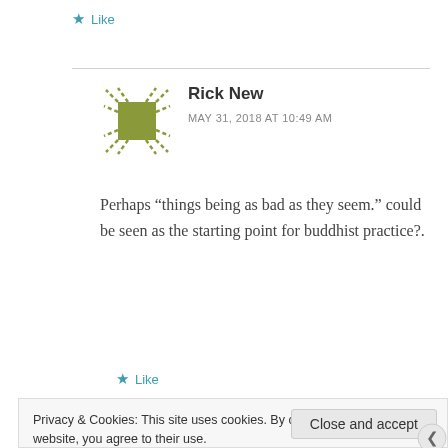★ Like
Rick New
MAY 31, 2018 AT 10:49 AM
Perhaps “things being as bad as they seem.” could be seen as the starting point for buddhist practice?.
★ Like
Privacy & Cookies: This site uses cookies. By continuing to use this website, you agree to their use.
To find out more, including how to control cookies, see here: Cookie Policy
Close and accept